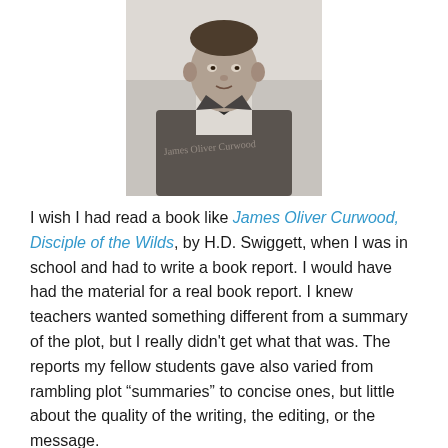[Figure (photo): Black and white portrait photograph of James Oliver Curwood, a man in a suit and bow tie, shown from chest up, looking to the side.]
I wish I had read a book like James Oliver Curwood, Disciple of the Wilds, by H.D. Swiggett, when I was in school and had to write a book report. I would have had the material for a real book report. I knew teachers wanted something different from a summary of the plot, but I really didn’t get what that was. The reports my fellow students gave also varied from rambling plot “summaries” to concise ones, but little about the quality of the writing, the editing, or the message.
While proofing this book for Distributed Proofreaders, my